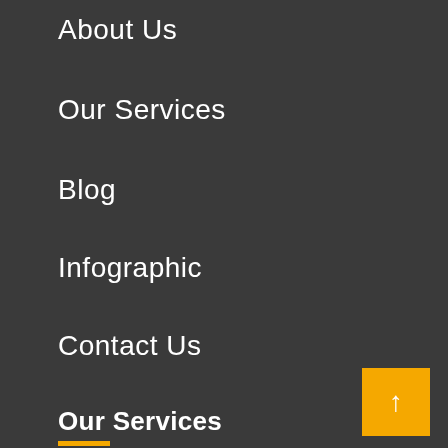About Us
Our Services
Blog
Infographic
Contact Us
Our Services
SEO
PPC Management